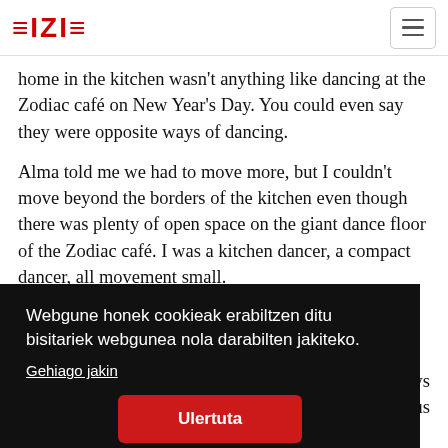EIZIE
home in the kitchen wasn't anything like dancing at the Zodiac café on New Year's Day. You could even say they were opposite ways of dancing.

Alma told me we had to move more, but I couldn't move beyond the borders of the kitchen even though there was plenty of open space on the giant dance floor of the Zodiac café. I was a kitchen dancer, a compact dancer, all movement small.
Webgune honek cookieak erabiltzen ditu bisitariek webgunea nola darabilten jakiteko.
Gehiago jakin
Ulertuta
errands and who was my age and myself – because